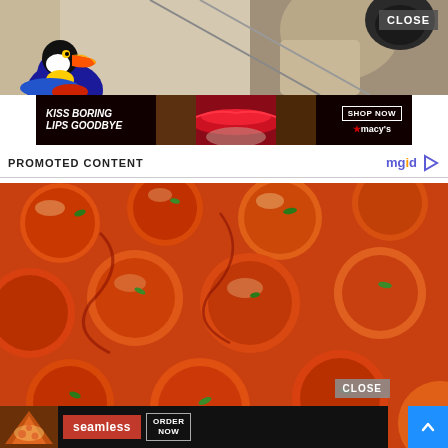[Figure (photo): Advertisement showing a woman model and dog, toucan mascot in upper left, with CLOSE button]
[Figure (photo): Macy's advertisement banner: KISS BORING LIPS GOODBYE with SHOP NOW button and Macy's star logo]
PROMOTED CONTENT
[Figure (logo): mgid logo with play button icon]
[Figure (photo): Food photo showing roasted tomatoes or carrots with green herbs, close-up view. CLOSE button overlay. Seamless food delivery ad at bottom with ORDER NOW button.]